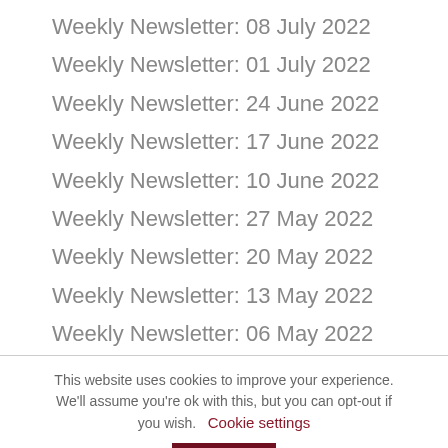Weekly Newsletter: 08 July 2022
Weekly Newsletter: 01 July 2022
Weekly Newsletter: 24 June 2022
Weekly Newsletter: 17 June 2022
Weekly Newsletter: 10 June 2022
Weekly Newsletter: 27 May 2022
Weekly Newsletter: 20 May 2022
Weekly Newsletter: 13 May 2022
Weekly Newsletter: 06 May 2022
This website uses cookies to improve your experience. We'll assume you're ok with this, but you can opt-out if you wish. Cookie settings ACCEPT